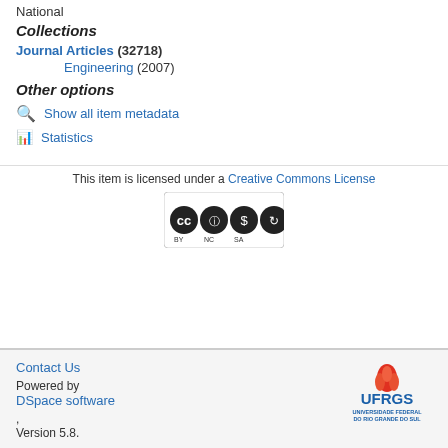National
Collections
Journal Articles (32718)
Engineering (2007)
Other options
Show all item metadata
Statistics
This item is licensed under a Creative Commons License
[Figure (logo): Creative Commons BY NC SA license badge]
Contact Us
Powered by DSpace software, Version 5.8.
[Figure (logo): UFRGS - Universidade Federal do Rio Grande do Sul logo]